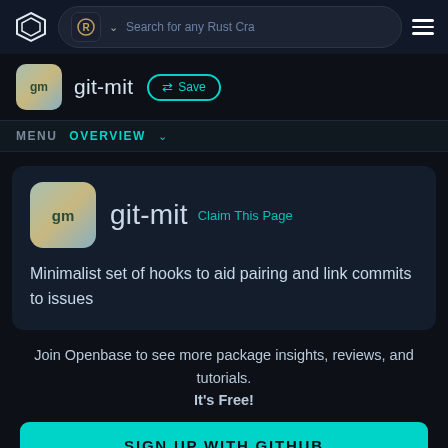[Figure (screenshot): Navigation bar with Openbase logo, Rust crate search box, and hamburger menu]
git-mit  Save
MENU  OVERVIEW
[Figure (infographic): Package card showing git-mit logo, name, Claim This Page link, and description]
Minimalist set of hooks to aid pairing and link commits to issues
Join Openbase to see more package insights, reviews, and tutorials. It's Free!
SIGN UP WITH GITHUB
By signing up, you agree to our terms and privacy policy